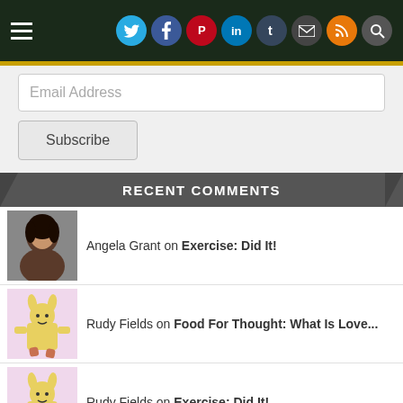Navigation bar with hamburger menu and social icons: Twitter, Facebook, Pinterest, LinkedIn, Tumblr, Email, RSS, Search
Email Address
Subscribe
RECENT COMMENTS
Angela Grant on Exercise: Did It!
Rudy Fields on Food For Thought: What Is Love...
Rudy Fields on Exercise: Did It!
Angela Grant on Food For Thought: What Is Love...